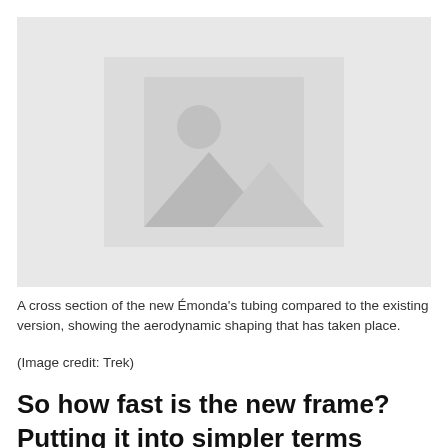[Figure (photo): Placeholder image showing a grey rectangle with a mountain/landscape image placeholder icon in the center — represents a cross section of the new Émonda's tubing compared to the existing version.]
A cross section of the new Émonda's tubing compared to the existing version, showing the aerodynamic shaping that has taken place.
(Image credit: Trek)
So how fast is the new frame? Putting it into simpler terms